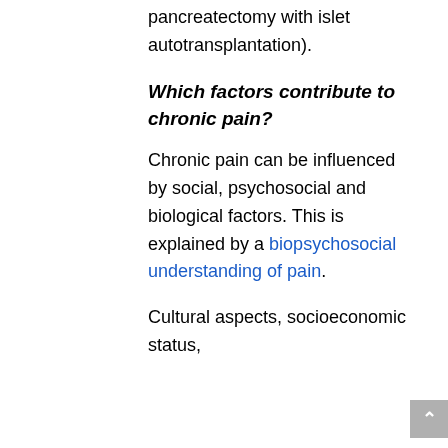pancreatectomy with islet autotransplantation).
Which factors contribute to chronic pain?
Chronic pain can be influenced by social, psychosocial and biological factors. This is explained by a biopsychosocial understanding of pain.
Cultural aspects, socioeconomic status,